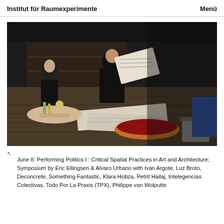Institut für Raumexperimente   Menü
[Figure (photo): Dark indoor scene on a wooden stage/platform. A bearded man sits on the floor reading a newspaper. A woman in black sits to the left. Food dishes, bottles, newspapers, and cooking pots are scattered on the floor. Wooden shelving visible in the background.]
June 8: Performing Politics I : Critical Spatial Practices in Art and Architecture; Symposium by Eric Ellingsen & Alvaro Urbano with Ivan Argote, Luz Broto, Deconcrete, Something Fantastic, Klara Hobza, Petrit Hailaj, Intelegencias Colectivas, Todo Por La Praxis (TPX), Philippe van Wolputte